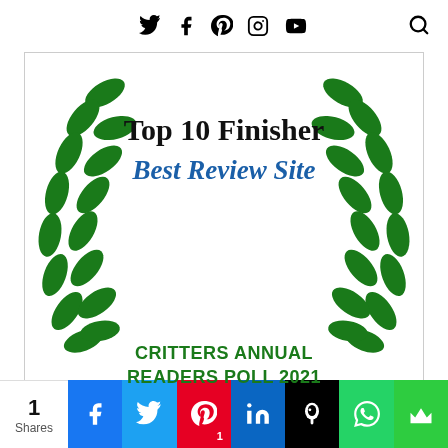Social media navigation icons and search
[Figure (illustration): Award badge with laurel wreath showing 'Top 10 Finisher / Best Review Site / CRITTERS ANNUAL READERS POLL 2021']
[Figure (infographic): Social share bar with counts: 1 Share, Facebook, Twitter, Pinterest (1), LinkedIn, Hootsuite, WhatsApp, Crown share button]